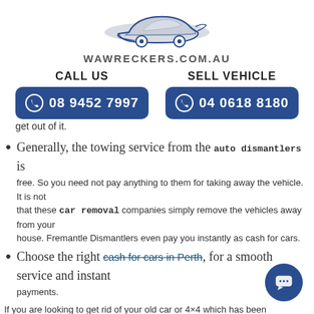[Figure (logo): Car silhouette logo above WAWRECKERS.COM.AU text]
CALL US
SELL VEHICLE
08 9452 7997
04 0618 8180
get out of it.
Generally, the towing service from the auto dismantlers is free. So you need not pay anything to them for taking away the vehicle. It is not that these car removal companies simply remove the vehicles away from your house. Fremantle Dismantlers even pay you instantly as cash for cars.
Choose the right cash for cars in Perth, for a smooth service and instant payments.
If you are looking to get rid of your old car or 4×4 which has been occupying the garage space, do not be further late and call up the Fremantle Dismantlers and ask them to take away your scrap vehicle. And if they feel that any part of your car has any value, they